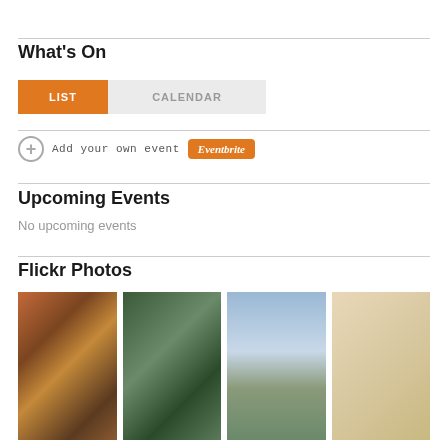What's On
LIST  CALENDAR
+ Add your own event  Eventbrite
Upcoming Events
No upcoming events
Flickr Photos
[Figure (photo): Four thumbnail photos in a row showing a crowd, a person, a landscape, and a document.]